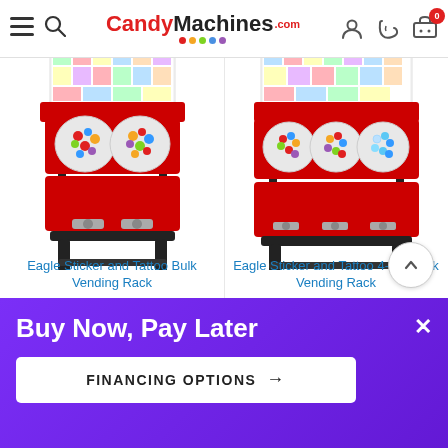CandyMachines.com
[Figure (photo): Eagle Sticker and Tattoo Bulk Vending Rack - red and black vending machine with gumball dispensers and sticker/tattoo display panel on top]
Eagle Sticker and Tattoo Bulk Vending Rack
[Figure (photo): Eagle Sticker and Tattoo 4-unit Bulk Vending Rack - larger red and black vending machine with 4 gumball dispensers and sticker/tattoo display panel on top]
Eagle Sticker and Tattoo 4-unit Bulk Vending Rack
Buy Now, Pay Later
FINANCING OPTIONS →